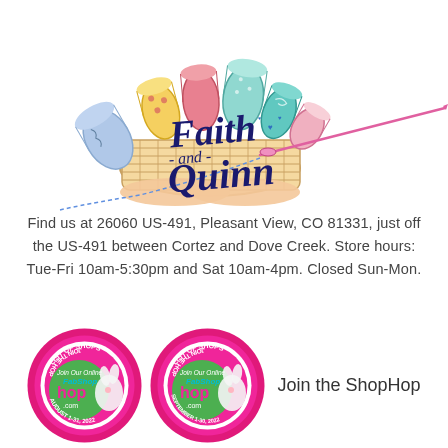[Figure (illustration): Faith and Quinn logo: a hand holding a basket filled with colorful rolled fabric bolts, with a large needle and thread extending to the right. Text reads 'Faith - and - Quinn' in decorative dark navy script.]
Find us at 26060 US-491, Pleasant View, CO 81331, just off the US-491 between Cortez and Dove Creek. Store hours: Tue-Fri 10am-5:30pm and Sat 10am-4pm. Closed Sun-Mon.
[Figure (logo): FabShop Hop circular badge for August 1-31, 2022 with bunny mascot, pink/green/white colors, text: JOIN THE HOP, LIST OF SHOPS, Join Our Online, FabShop hop .com, AUGUST 1-31, 2022]
[Figure (logo): FabShop Hop circular badge for September 1-30, 2022 with bunny mascot, pink/green/white colors, text: JOIN THE HOP, LIST OF SHOPS, Join Our Online, FabShop hop .com, SEPTEMBER 1-30, 2022]
Join the ShopHop